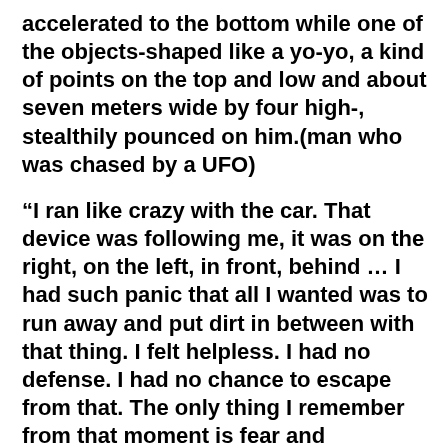accelerated to the bottom while one of the objects-shaped like a yo-yo, a kind of points on the top and low and about seven meters wide by four high-, stealthily pounced on him.(man who was chased by a UFO)
“I ran like crazy with the car. That device was following me, it was on the right, on the left, in front, behind … I had such panic that all I wanted was to run away and put dirt in between with that thing. I felt helpless. I had no defense. I had no chance to escape from that. The only thing I remember from that moment is fear and impotence. “